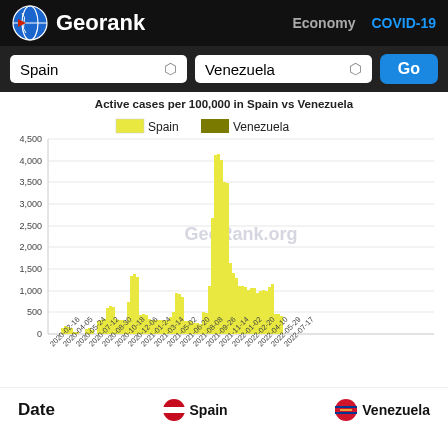Georank   Economy   COVID-19
Spain   Venezuela   Go
Active cases per 100,000 in Spain vs Venezuela
[Figure (bar-chart): Active cases per 100,000 in Spain vs Venezuela]
Date   Spain   Venezuela